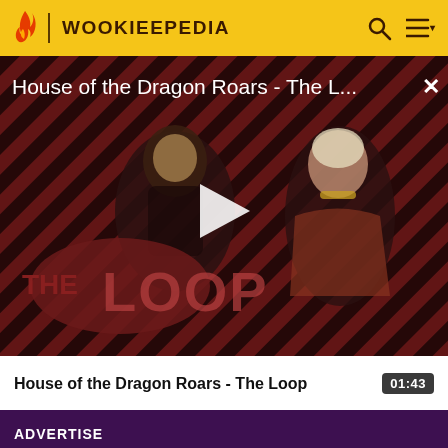WOOKIEEPEDIA
[Figure (screenshot): Video thumbnail for 'House of the Dragon Roars - The Loop' showing two characters from House of the Dragon against a diagonal red and dark stripe background with THE LOOP logo overlay and a white play button triangle in the center. Text overlay reads 'House of the Dragon Roars - The L...' with an X close button.]
House of the Dragon Roars - The Loop
01:43
Support
ADVERTISE